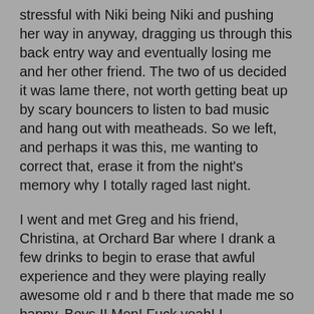stressful with Niki being Niki and pushing her way in anyway, dragging us through this back entry way and eventually losing me and her other friend. The two of us decided it was lame there, not worth getting beat up by scary bouncers to listen to bad music and hang out with meatheads. So we left, and perhaps it was this, me wanting to correct that, erase it from the night's memory why I totally raged last night.
I went and met Greg and his friend, Christina, at Orchard Bar where I drank a few drinks to begin to erase that awful experience and they were playing really awesome old r and b there that made me so happy. Boys II Men! Fuck yeah! I commented to Greg about how happy I would be if they played En Vogue. And with each song that came on, I kept hoping it would be En Vogue, but it never happened, or at least not while we were there. They all left to go to Lit and I followed and stayed at Lit for all of about two hot minutes because that place makes me want to slash my wrists. Some bars just put me on edge and that is one of them. So I left Greg and company and walked up to 14th Street to meet Ethan who was taking a very long time to get into Manhattan. Waiting for him, trying to keep my momentum going which